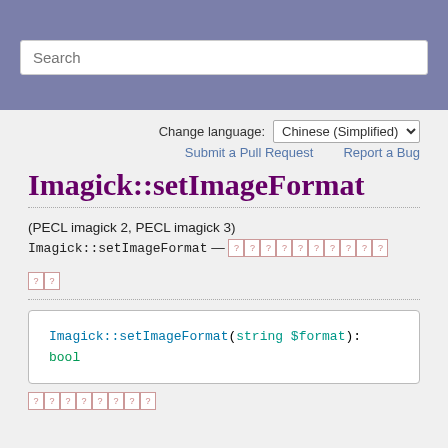Search
Change language: Chinese (Simplified)
Submit a Pull Request   Report a Bug
Imagick::setImageFormat
(PECL imagick 2, PECL imagick 3)
Imagick::setImageFormat — [tofu characters]
[tofu characters]
Imagick::setImageFormat(string $format): bool
[tofu characters row]